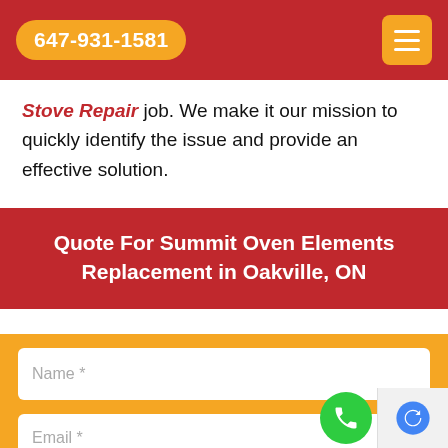647-931-1581
Stove Repair job. We make it our mission to quickly identify the issue and provide an effective solution.
Quote For Summit Oven Elements Replacement in Oakville, ON
[Figure (screenshot): Web form with input fields: Name *, Phone *, Email *]